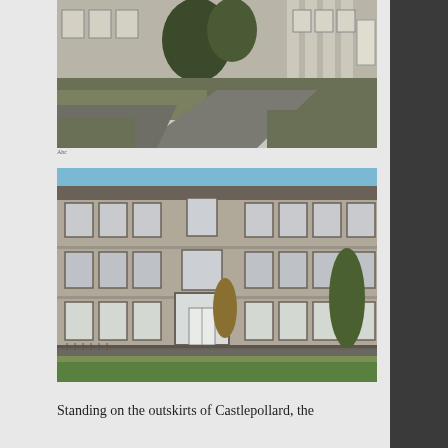[Figure (photo): Exterior view of a large Georgian-style building with columns, surrounded by overgrown grass and a driveway, seen from the approach path. Trees visible in front.]
[Figure (photo): Front facade of a large three-storey institutional building with many sash windows, a central entrance door, and a lawn in the foreground. Located on the outskirts of Castlepollard.]
Standing on the outskirts of Castlepollard, the